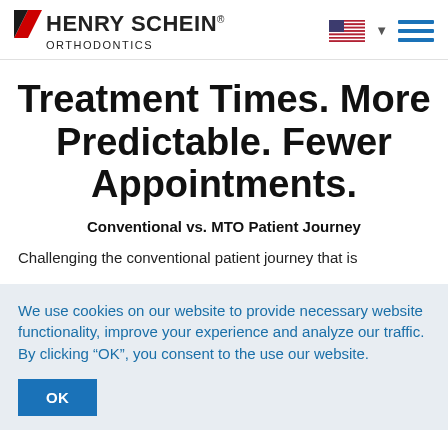Henry Schein® Orthodontics
Treatment Times. More Predictable. Fewer Appointments.
Conventional vs. MTO Patient Journey
Challenging the conventional patient journey that is
We use cookies on our website to provide necessary website functionality, improve your experience and analyze our traffic. By clicking “OK”, you consent to the use our website.